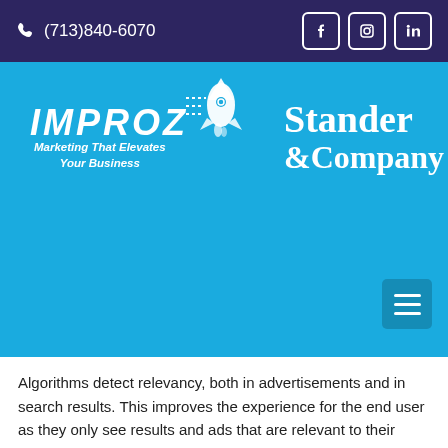📞 (713)840-6070  [Facebook] [Instagram] [LinkedIn]
[Figure (logo): IMPROZ rocket logo with tagline 'Marketing That Elevates Your Business' alongside 'Stander & Company' text logo on blue background, with hamburger menu icon]
Algorithms detect relevancy, both in advertisements and in search results. This improves the experience for the end user as they only see results and ads that are relevant to their searches.
10. Scheduling and Geo-Targeting